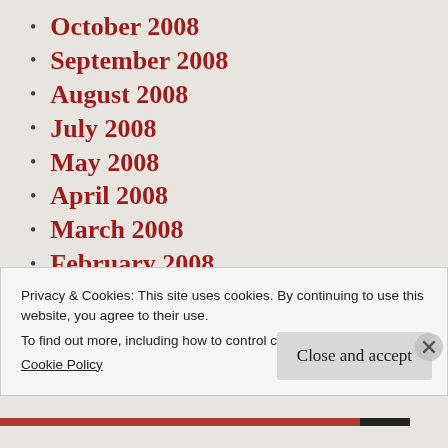October 2008
September 2008
August 2008
July 2008
May 2008
April 2008
March 2008
February 2008
January 2008
December 2007
November 2007
Privacy & Cookies: This site uses cookies. By continuing to use this website, you agree to their use.
To find out more, including how to control cookies, see here:
Cookie Policy
Close and accept